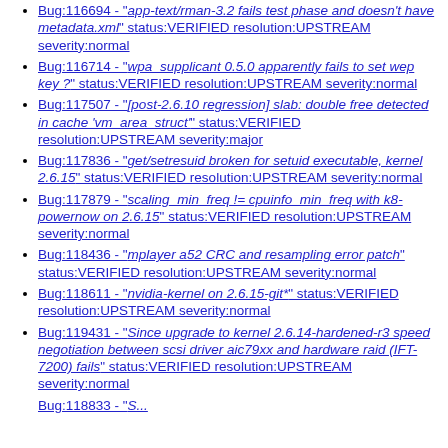Bug:116694 - "app-text/rman-3.2 fails test phase and doesn't have metadata.xml" status:VERIFIED resolution:UPSTREAM severity:normal
Bug:116714 - "wpa_supplicant 0.5.0 apparently fails to set wep key ?" status:VERIFIED resolution:UPSTREAM severity:normal
Bug:117507 - "[post-2.6.10 regression] slab: double free detected in cache 'vm_area_struct'" status:VERIFIED resolution:UPSTREAM severity:major
Bug:117836 - "get/setresuid broken for setuid executable, kernel 2.6.15" status:VERIFIED resolution:UPSTREAM severity:normal
Bug:117879 - "scaling_min_freq != cpuinfo_min_freq with k8-powernow on 2.6.15" status:VERIFIED resolution:UPSTREAM severity:normal
Bug:118436 - "mplayer a52 CRC and resampling error patch" status:VERIFIED resolution:UPSTREAM severity:normal
Bug:118611 - "nvidia-kernel on 2.6.15-git*" status:VERIFIED resolution:UPSTREAM severity:normal
Bug:119431 - "Since upgrade to kernel 2.6.14-hardened-r3 speed negotiation between scsi driver aic79xx and hardware raid (IFT-7200) fails" status:VERIFIED resolution:UPSTREAM severity:normal
Bug:118833 - "..."